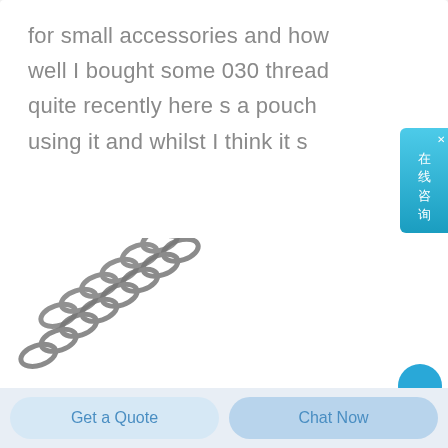for small accessories and how well I bought some 030 thread quite recently here s a pouch using it and whilst I think it s
[Figure (screenshot): Chinese online consultation side button with close X, gradient blue background and Chinese characters 在线咨询]
[Figure (photo): Metal coil spring / wire spring, multiple coiled springs overlapping, silver/gray metallic, on white background. Blue circular button visible at bottom right.]
Get a Quote
Chat Now